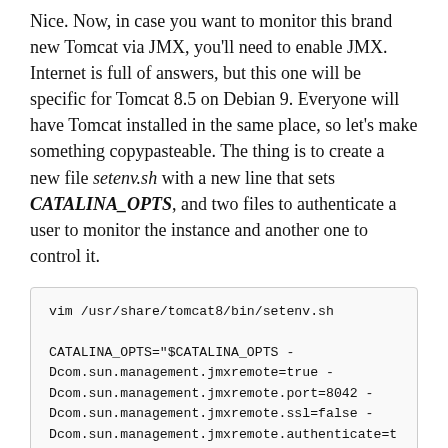Nice. Now, in case you want to monitor this brand new Tomcat via JMX, you'll need to enable JMX. Internet is full of answers, but this one will be specific for Tomcat 8.5 on Debian 9. Everyone will have Tomcat installed in the same place, so let's make something copypasteable. The thing is to create a new file setenv.sh with a new line that sets CATALINA_OPTS, and two files to authenticate a user to monitor the instance and another one to control it.
vim /usr/share/tomcat8/bin/setenv.sh

CATALINA_OPTS="$CATALINA_OPTS -Dcom.sun.management.jmxremote=true -Dcom.sun.management.jmxremote.port=8042 -Dcom.sun.management.jmxremote.ssl=false -Dcom.sun.management.jmxremote.authenticate=true -Dcom.sun.management.jmxremote.access.file=/usr/share/tomcat8/jmxremote.access -Dcom.sun.management.jmxremote.password.file=...